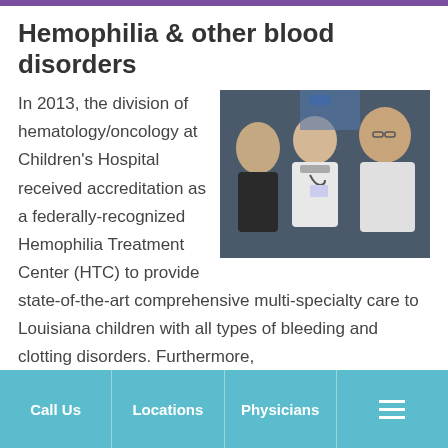Hemophilia & other blood disorders
[Figure (photo): Three medical professionals in white lab coats, appearing to consult in a clinical setting]
In 2013, the division of hematology/oncology at Children’s Hospital received accreditation as a federally-recognized Hemophilia Treatment Center (HTC) to provide state-of-the-art comprehensive multi-specialty care to Louisiana children with all types of bleeding and clotting disorders. Furthermore,
Call Us  Locations  Physicians  ☰